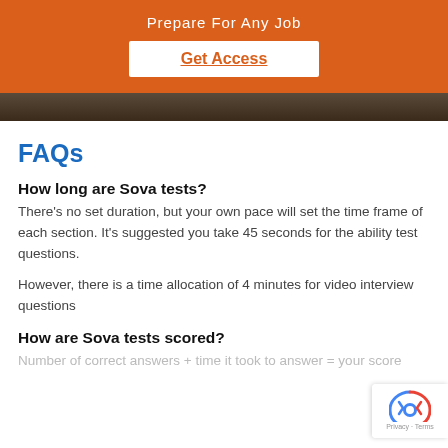Prepare For Any Job
Get Access
[Figure (photo): Partial photo strip showing a person, cropped, dark tones]
FAQs
How long are Sova tests?
There's no set duration, but your own pace will set the time frame of each section. It's suggested you take 45 seconds for the ability test questions.
However, there is a time allocation of 4 minutes for video interview questions
How are Sova tests scored?
Number of correct answers + time it took to answer = your score